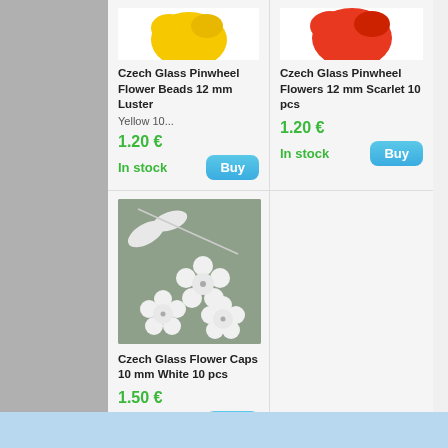[Figure (photo): Czech Glass Pinwheel Flower Beads - yellow, partially cropped at top]
Czech Glass Pinwheel Flower Beads 12 mm Luster Yellow 10...
1.20 €
In stock
[Figure (photo): Czech Glass Pinwheel Flowers - red/scarlet, partially cropped at top]
Czech Glass Pinwheel Flowers 12 mm Scarlet 10 pcs
1.20 €
In stock
[Figure (photo): Czech Glass Flower Caps 10mm White - multiple white star/flower shaped beads on grayish-green background]
Czech Glass Flower Caps 10 mm White 10 pcs
1.50 €
In stock